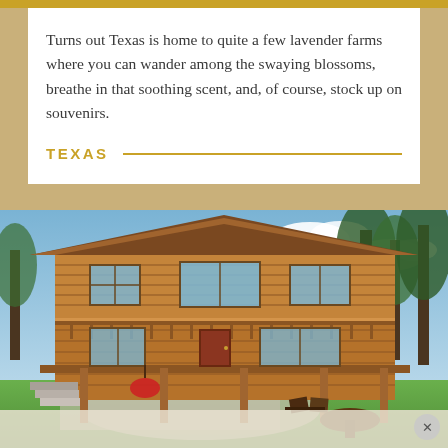Turns out Texas is home to quite a few lavender farms where you can wander among the swaying blossoms, breathe in that soothing scent, and, of course, stock up on souvenirs.
TEXAS
[Figure (photo): A large two-story wooden cabin lodge with a wraparound upper deck and covered lower porch. The exterior is natural wood siding. Outdoor chairs and a round table sit on the patio area. A red hanging chair is visible under the porch. Green lawn in the foreground, tall pine trees in the background under a partly cloudy sky.]